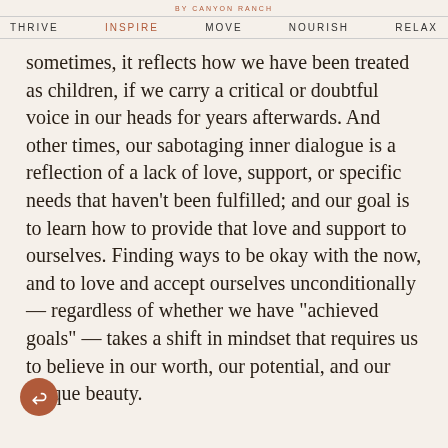BY CANYON RANCH
THRIVE   INSPIRE   MOVE   NOURISH   RELAX
sometimes, it reflects how we have been treated as children, if we carry a critical or doubtful voice in our heads for years afterwards. And other times, our sabotaging inner dialogue is a reflection of a lack of love, support, or specific needs that haven’t been fulfilled; and our goal is to learn how to provide that love and support to ourselves. Finding ways to be okay with the now, and to love and accept ourselves unconditionally — regardless of whether we have “achieved goals” — takes a shift in mindset that requires us to believe in our worth, our potential, and our unique beauty.
But most of us, experts say, are impatient, and set unrealistic expectations on goals such being numerous, having a companion, achieving our